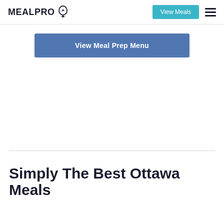MEALPRO
View Meals
View Meal Prep Menu
Simply The Best Ottawa Meals